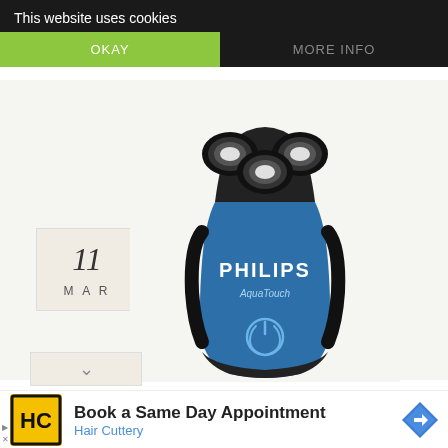This website uses cookies
OKAY
MORE INFO
[Figure (photo): Philips AquaTouch electric shaver, blue and black, three rotary heads, power button visible]
11
MAR
∨
[Figure (infographic): Advertisement banner: Hair Cuttery logo (HC in yellow square with black border), text 'Book a Same Day Appointment / Hair Cuttery', navigation arrow icon on right]